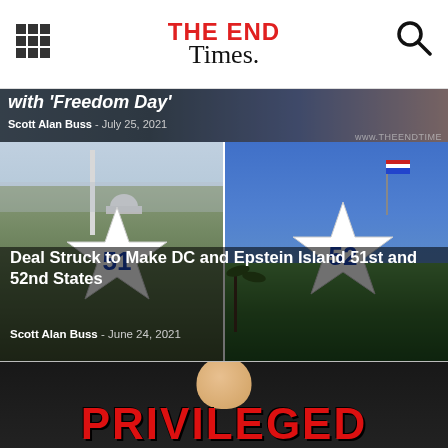THE END Times
[Figure (photo): Partial article strip showing headline 'with Freedom Day' over a background with a US flag element]
Scott Alan Buss  -  July 25, 2021
[Figure (photo): Two-panel image: left panel shows Washington DC skyline with Washington Monument and Capitol, with a large star numbered 51; right panel shows Epstein Island with tropical vegetation and American flag, with a large star numbered 52]
Deal Struck to Make DC and Epstein Island 51st and 52nd States
Scott Alan Buss  -  June 24, 2021
[Figure (photo): Partial banner showing the word PRIVILEGED in large red block letters over a dark background, with a partial figure of a person's head visible]